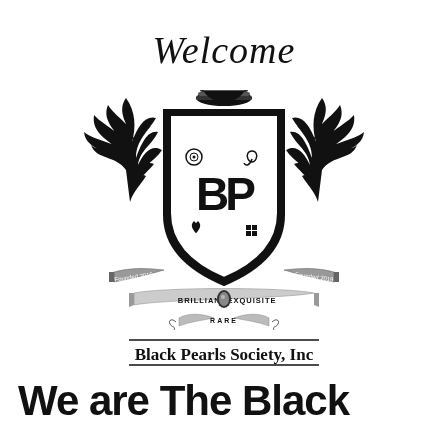Welcome
[Figure (logo): Black Pearls Society, Inc crest/coat of arms logo featuring a shield with initials 'BP', crown on top, two decorative leaf/foliage supporters on each side, banners reading 'Founded 2019', 'BRILLIANT EXQUISITE', 'RARE', and text underneath reading 'Black Pearls Society, Inc']
We are The Black